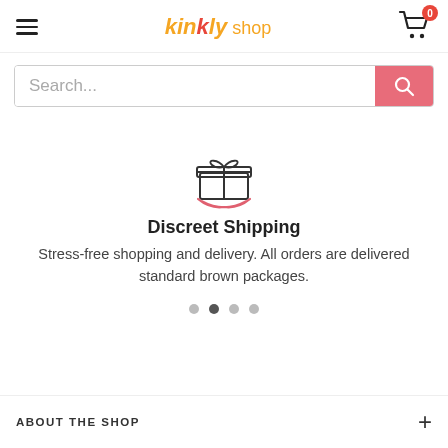kinkly shop — navigation header with hamburger menu and cart (0 items)
Search...
[Figure (illustration): Gift box icon with a hand underneath, rendered in pink/red outline style]
Discreet Shipping
Stress-free shopping and delivery. All orders are delivered standard brown packages.
Carousel dots: 4 dots, second active
ABOUT THE SHOP +